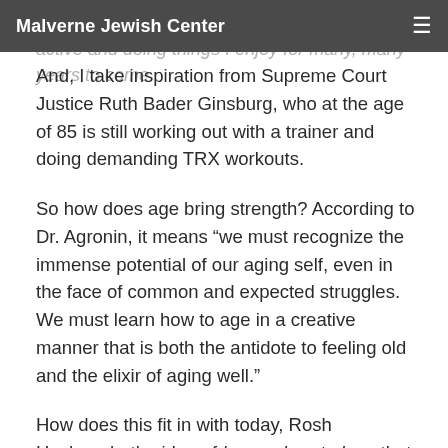Malverne Jewish Center
myself, then at least theoretically, I can stay active and doing things I enjoy for many, many years to come.
And, I take inspiration from Supreme Court Justice Ruth Bader Ginsburg, who at the age of 85 is still working out with a trainer and doing demanding TRX workouts.
So how does age bring strength? According to Dr. Agronin, it means “we must recognize the immense potential of our aging self, even in the face of common and expected struggles. We must learn how to age in a creative manner that is both the antidote to feeling old and the elixir of aging well.”
How does this fit in with today, Rosh Hashanah, the idea of hayom harat olam, that today the world is pregnant, or gestating? Well, if we can change the way we view getting older, then we can change some of the ways we view the whole concept of teshuva on Rosh Hashanah. Perhaps it’s less about what we did last year that we want to change, or do differently, but about reorienting our thought processes surrounding aging, especially our own.